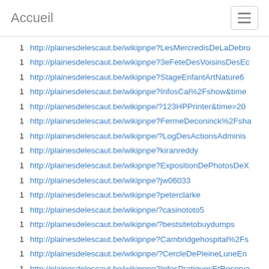Accueil
1  http://plainesdelescaut.be/wikipnpe?LesMercredisDeLaDebro
1  http://plainesdelescaut.be/wikipnpe?3eFeteDesVoisinsDesEc
1  http://plainesdelescaut.be/wikipnpe?StageEnfantArtNature6
1  http://plainesdelescaut.be/wikipnpe?InfosCal%2Fshow&time
1  http://plainesdelescaut.be/wikipnpe/?123HPPrinter&time=20
1  http://plainesdelescaut.be/wikipnpe?FermeDeconinck%2Fsha
1  http://plainesdelescaut.be/wikipnpe/?LogDesActionsAdminis
1  http://plainesdelescaut.be/wikipnpe?kiranreddy
1  http://plainesdelescaut.be/wikipnpe?ExpositionDePhotosDeX
1  http://plainesdelescaut.be/wikipnpe?jw06033
1  http://plainesdelescaut.be/wikipnpe?peterclarke
1  http://plainesdelescaut.be/wikipnpe/?casinototo5
1  http://plainesdelescaut.be/wikipnpe/?bestsitetobuydumps
1  http://plainesdelescaut.be/wikipnpe?Cambridgehospital%2Fs
1  http://plainesdelescaut.be/wikipnpe/?CercleDePleineLuneEn
1  http://plainesdelescaut.be/wikipnpe?InfosPratiquesEtReserva
1  http://plainesdelescaut.be/wikipnpe/?jacobryan
1  http://plainesdelescaut.be/wikipnpe?LogDesActionsAdminist
1  https://tailoi.vn/khong-phan-loai/writing-an-essay-on-the-fo 955.html